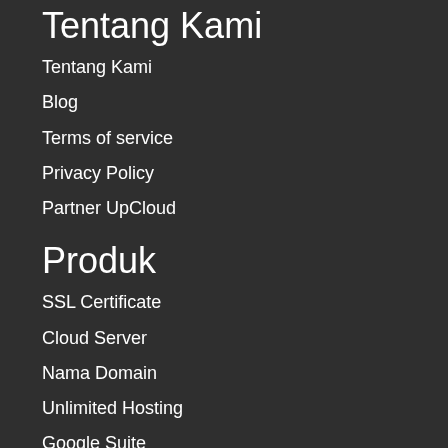Tentang Kami
Tentang Kami
Blog
Terms of service
Privacy Policy
Partner UpCloud
Produk
SSL Certificate
Cloud Server
Nama Domain
Unlimited Hosting
Google Suite
Promo
Promo Cashback 30%